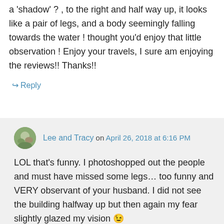a ‘shadow’ ? , to the right and half way up, it looks like a pair of legs, and a body seemingly falling towards the water ! thought you’d enjoy that little observation ! Enjoy your travels, I sure am enjoying the reviews!! Thanks!!
↪ Reply
Lee and Tracy on April 26, 2018 at 6:16 PM
LOL that’s funny. I photoshopped out the people and must have missed some legs… too funny and VERY observant of your husband. I did not see the building halfway up but then again my fear slightly glazed my vision 😉